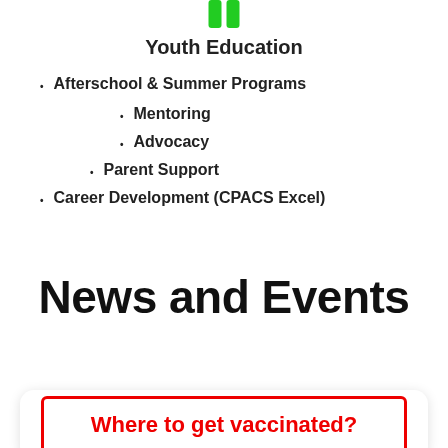[Figure (illustration): Two green vertical bars icon at the top center]
Youth Education
Afterschool & Summer Programs
Mentoring
Advocacy
Parent Support
Career Development (CPACS Excel)
News and Events
Where to get vaccinated?